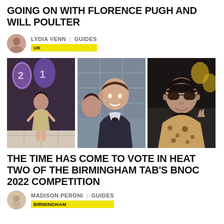GOING ON WITH FLORENCE PUGH AND WILL POULTER
LYDIA VENN | GUIDES
UK
[Figure (photo): Three photos side by side: left shows a young woman in a silver dress holding balloons, center shows a young man in a suit smiling with a person next to him, right shows a woman with brown hair wearing sunglasses and a leopard print coat]
THE TIME HAS COME TO VOTE IN HEAT TWO OF THE BIRMINGHAM TAB'S BNOC 2022 COMPETITION
MADISON PERONI | GUIDES
BIRMINGHAM